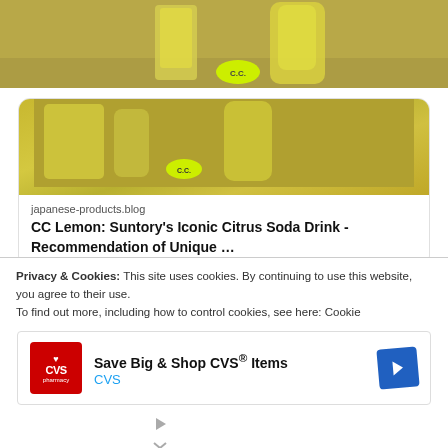[Figure (photo): Photo of CC Lemon drink bottles and glass with yellow liquid on a wooden table]
japanese-products.blog
CC Lemon: Suntory's Iconic Citrus Soda Drink - Recommendation of Unique ...
View more on Twitter
Learn more about privacy on Twitter
Privacy & Cookies: This site uses cookies. By continuing to use this website, you agree to their use.
To find out more, including how to control cookies, see here: Cookie
[Figure (screenshot): CVS Pharmacy advertisement: Save Big & Shop CVS® Items]
Save Big & Shop CVS® Items
CVS